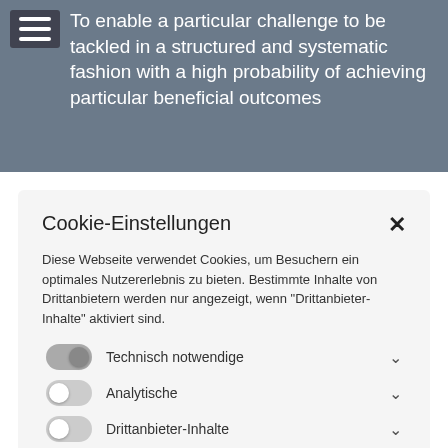[Figure (screenshot): Website header background with hamburger menu icon and text about enabling a challenge to be tackled in a structured and systematic fashion]
Cookie-Einstellungen
Diese Webseite verwendet Cookies, um Besuchern ein optimales Nutzererlebnis zu bieten. Bestimmte Inhalte von Drittanbietern werden nur angezeigt, wenn "Drittanbieter-Inhalte" aktiviert sind.
Technisch notwendige
Analytische
Drittanbieter-Inhalte
ALLE AKZEPTIEREN
SPEICHERN